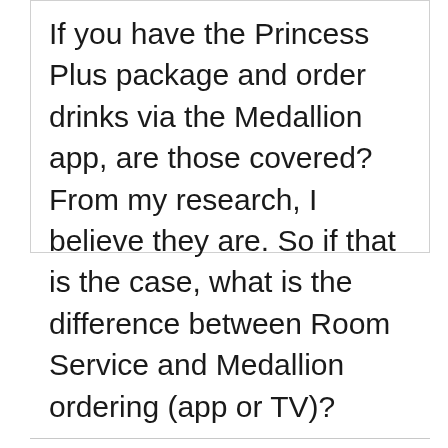If you have the Princess Plus package and order drinks via the Medallion app, are those covered? From my research, I believe they are. So if that is the case, what is the difference between Room Service and Medallion ordering (app or TV)?
Cruise Mummy
30th March 2022 | Reply